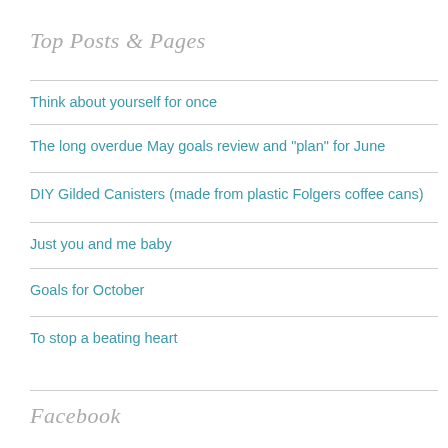Top Posts & Pages
Think about yourself for once
The long overdue May goals review and "plan" for June
DIY Gilded Canisters (made from plastic Folgers coffee cans)
Just you and me baby
Goals for October
To stop a beating heart
Facebook